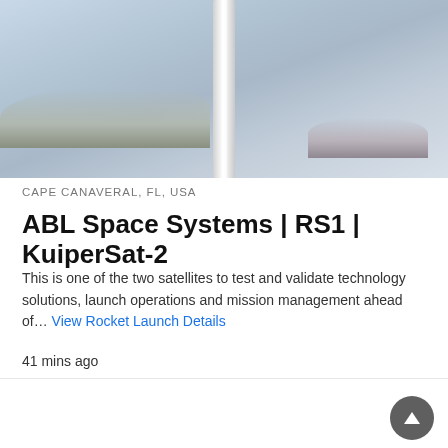[Figure (photo): Rocket on launch pad or in flight, white body against blue-grey sky with clouds, top portion of rocket visible]
CAPE CANAVERAL, FL, USA
ABL Space Systems | RS1 | KuiperSat-2
This is one of the two satellites to test and validate technology solutions, launch operations and mission management ahead of… View Rocket Launch Details
41 mins ago
[Figure (photo): Rocket launch against dark blue night sky, rocket lifting off with bright exhaust plume visible at bottom]